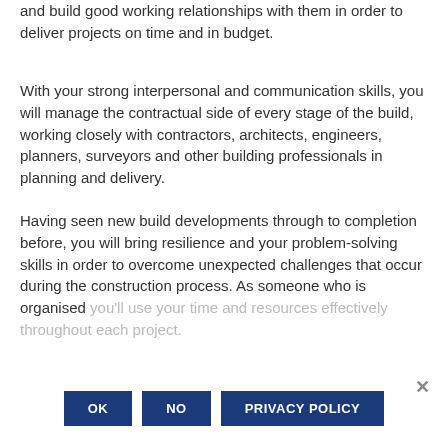and build good working relationships with them in order to deliver projects on time and in budget.
With your strong interpersonal and communication skills, you will manage the contractual side of every stage of the build, working closely with contractors, architects, engineers, planners, surveyors and other building professionals in planning and delivery.
Having seen new build developments through to completion before, you will bring resilience and your problem-solving skills in order to overcome unexpected challenges that occur during the construction process. As someone who is organised you'll use your time and resources effectively throughout each project.
Our Board of Directors are responsible for the